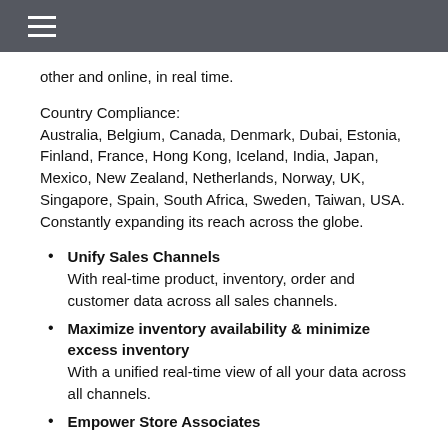other and online, in real time.
Country Compliance:
Australia, Belgium, Canada, Denmark, Dubai, Estonia, Finland, France, Hong Kong, Iceland, India, Japan, Mexico, New Zealand, Netherlands, Norway, UK, Singapore, Spain, South Africa, Sweden, Taiwan, USA. Constantly expanding its reach across the globe.
Unify Sales Channels
With real-time product, inventory, order and customer data across all sales channels.
Maximize inventory availability & minimize excess inventory
With a unified real-time view of all your data across all channels.
Empower Store Associates